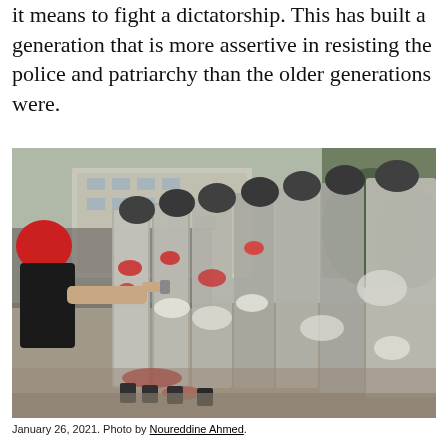it means to fight a dictatorship. This has built a generation that is more assertive in resisting the police and patriarchy than the older generations were.
[Figure (photo): A protester in a red head covering sprays something at a line of riot police holding shields splattered with red paint and white liquid, during a demonstration on January 26, 2021. Buildings are visible in the background.]
January 26, 2021. Photo by Noureddine Ahmed.